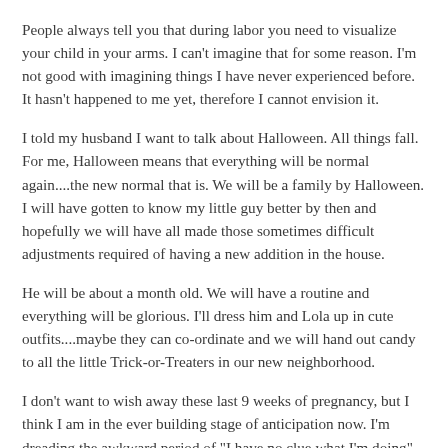People always tell you that during labor you need to visualize your child in your arms. I can't imagine that for some reason. I'm not good with imagining things I have never experienced before. It hasn't happened to me yet, therefore I cannot envision it.
I told my husband I want to talk about Halloween. All things fall. For me, Halloween means that everything will be normal again....the new normal that is. We will be a family by Halloween. I will have gotten to know my little guy better by then and hopefully we will have all made those sometimes difficult adjustments required of having a new addition in the house.
He will be about a month old. We will have a routine and everything will be glorious. I'll dress him and Lola up in cute outfits....maybe they can co-ordinate and we will hand out candy to all the little Trick-or-Treaters in our new neighborhood.
I don't want to wish away these last 9 weeks of pregnancy, but I think I am in the ever building stage of anticipation now. I'm dreading the awkward period of "I have no clue what I'm doing" but oh so looking forward to being a little family.